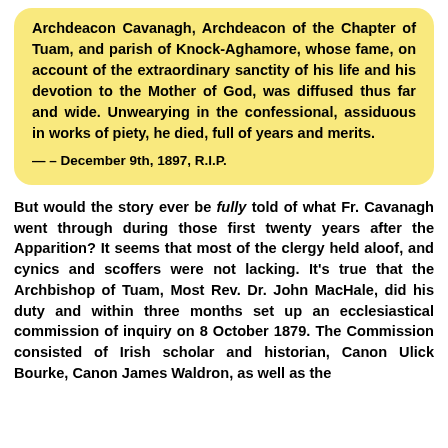Archdeacon Cavanagh, Archdeacon of the Chapter of Tuam, and parish of Knock-Aghamore, whose fame, on account of the extraordinary sanctity of his life and his devotion to the Mother of God, was diffused thus far and wide. Unwearying in the confessional, assiduous in works of piety, he died, full of years and merits.
— – December 9th, 1897, R.I.P.
But would the story ever be fully told of what Fr. Cavanagh went through during those first twenty years after the Apparition? It seems that most of the clergy held aloof, and cynics and scoffers were not lacking. It's true that the Archbishop of Tuam, Most Rev. Dr. John MacHale, did his duty and within three months set up an ecclesiastical commission of inquiry on 8 October 1879. The Commission consisted of Irish scholar and historian, Canon Ulick Bourke, Canon James Waldron, as well as the